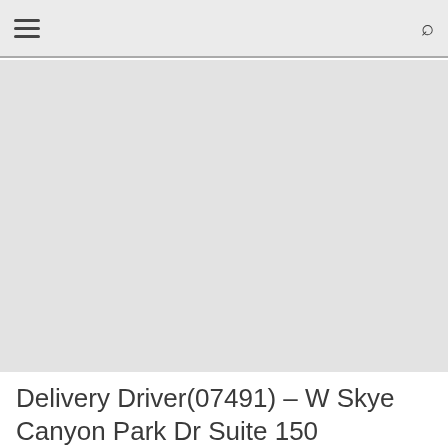[Navigation bar with hamburger menu and search icon]
[Figure (photo): Large light gray image placeholder area occupying most of the page]
Delivery Driver(07491) – W Skye Canyon Park Dr Suite 150